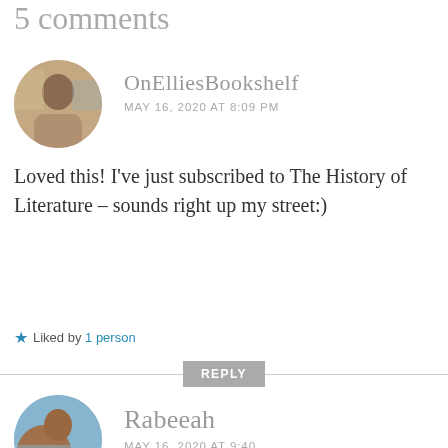5 comments
OnElliesBookshelf
MAY 16, 2020 AT 8:09 PM
Loved this! I've just subscribed to The History of Literature – sounds right up my street:)
★ Liked by 1 person
REPLY
Rabeeah
MAY 16, 2020 AT 9:40